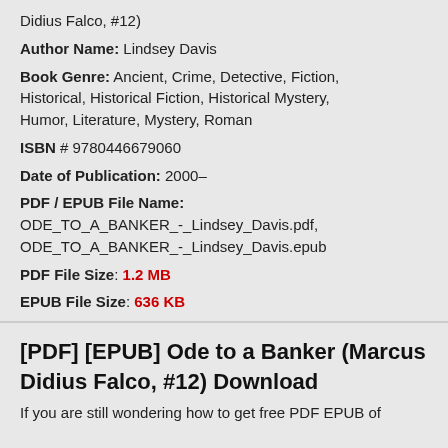Didius Falco, #12)
Author Name: Lindsey Davis
Book Genre: Ancient, Crime, Detective, Fiction, Historical, Historical Fiction, Historical Mystery, Humor, Literature, Mystery, Roman
ISBN # 9780446679060
Date of Publication: 2000–
PDF / EPUB File Name: ODE_TO_A_BANKER_-_Lindsey_Davis.pdf, ODE_TO_A_BANKER_-_Lindsey_Davis.epub
PDF File Size: 1.2 MB
EPUB File Size: 636 KB
[PDF] [EPUB] Ode to a Banker (Marcus Didius Falco, #12) Download
If you are still wondering how to get free PDF EPUB of